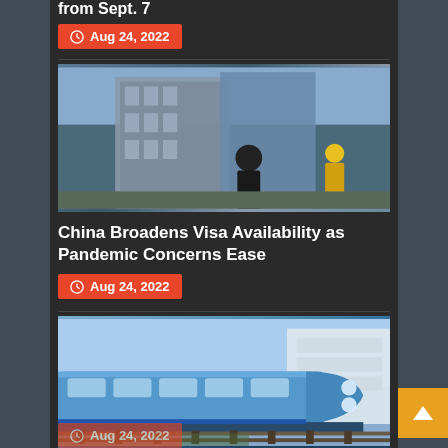from Sept. 7
Aug 24, 2022
[Figure (photo): People wearing masks walking outside a modern glass building]
China Broadens Visa Availability as Pandemic Concerns Ease
Aug 24, 2022
[Figure (photo): A blue hydrogen passenger train on railway tracks]
Fleet of Hydrogen Passenger Trains Begins Service in Germany
Aug 24, 2022